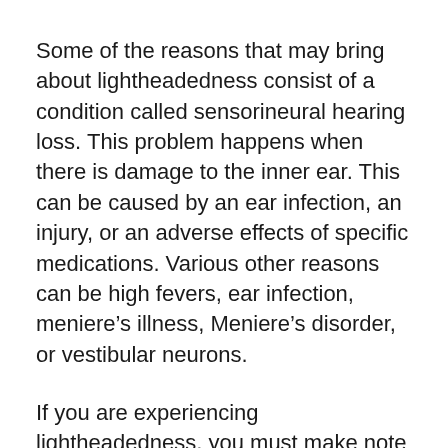Some of the reasons that may bring about lightheadedness consist of a condition called sensorineural hearing loss. This problem happens when there is damage to the inner ear. This can be caused by an ear infection, an injury, or an adverse effects of specific medications. Various other reasons can be high fevers, ear infection, meniere’s illness, Meniere’s disorder, or vestibular neurons.
If you are experiencing lightheadedness, you must make note of where your dizziness is influencing your equilibrium. You ought to likewise know if the modifications in balance are occurring for a long period of time or if they are just occurring in a short time period. This will assist your physician to determine